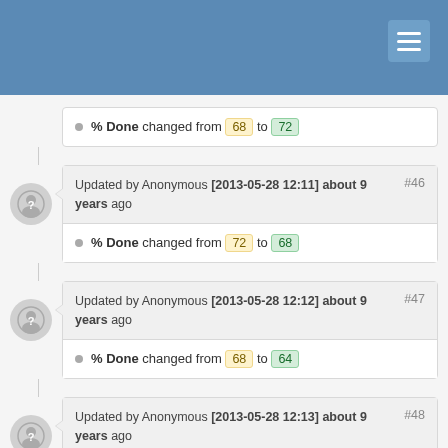% Done changed from 68 to 72
Updated by Anonymous [2013-05-28 12:11] about 9 years ago #46
% Done changed from 72 to 68
Updated by Anonymous [2013-05-28 12:12] about 9 years ago #47
% Done changed from 68 to 64
Updated by Anonymous [2013-05-28 12:13] about 9 years ago #48
% Done changed from 64 to 61